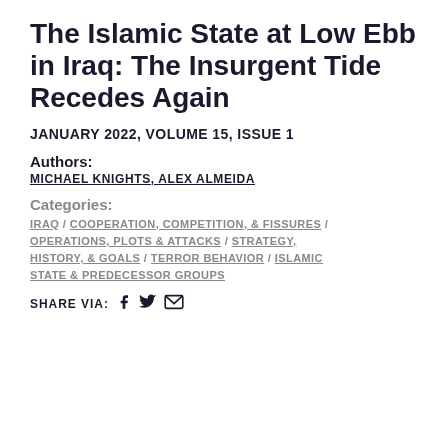The Islamic State at Low Ebb in Iraq: The Insurgent Tide Recedes Again
JANUARY 2022, VOLUME 15, ISSUE 1
Authors:
MICHAEL KNIGHTS, ALEX ALMEIDA
Categories:
IRAQ / COOPERATION, COMPETITION, & FISSURES / OPERATIONS, PLOTS & ATTACKS / STRATEGY, HISTORY, & GOALS / TERROR BEHAVIOR / ISLAMIC STATE & PREDECESSOR GROUPS
SHARE VIA: